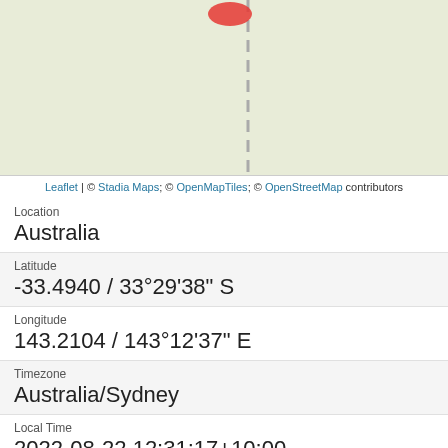[Figure (map): Partial map view showing a road/path with a red location marker pin, rendered with light green/beige background typical of OpenStreetMap tiles.]
Leaflet | © Stadia Maps; © OpenMapTiles; © OpenStreetMap contributors
Location
Australia
Latitude
-33.4940 / 33°29'38" S
Longitude
143.2104 / 143°12'37" E
Timezone
Australia/Sydney
Local Time
2022-08-22 12:31:17+10:00
IPv4 Addresses
103.224.182.251